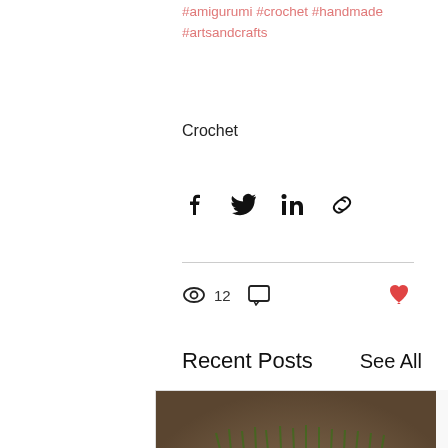#amigurumi #crochet #handmade #artsandcrafts
Crochet
[Figure (infographic): Social share bar with Facebook, Twitter, LinkedIn, and link icons]
12 views, 0 comments, like button
Recent Posts
See All
[Figure (photo): Photo of a crocheted soap cozy that looks like grass/moss on a stone surface]
Good Morning Soap Cozy